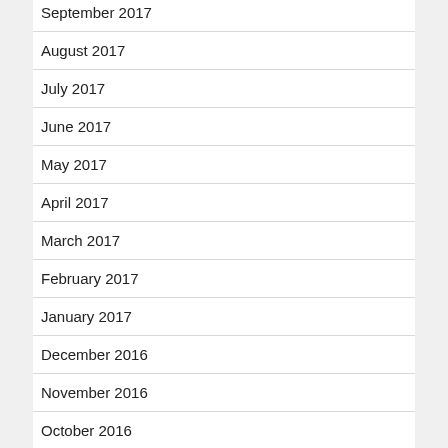September 2017
August 2017
July 2017
June 2017
May 2017
April 2017
March 2017
February 2017
January 2017
December 2016
November 2016
October 2016
September 2016